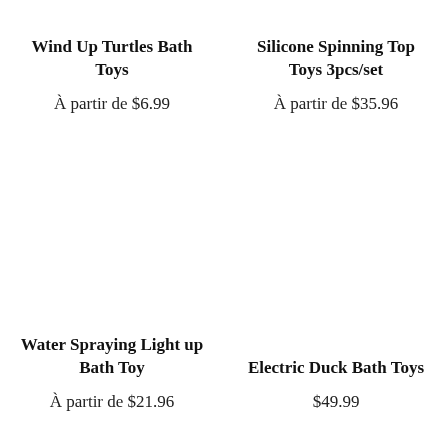Wind Up Turtles Bath Toys
À partir de $6.99
Silicone Spinning Top Toys 3pcs/set
À partir de $35.96
Water Spraying Light up Bath Toy
À partir de $21.96
Electric Duck Bath Toys
$49.99